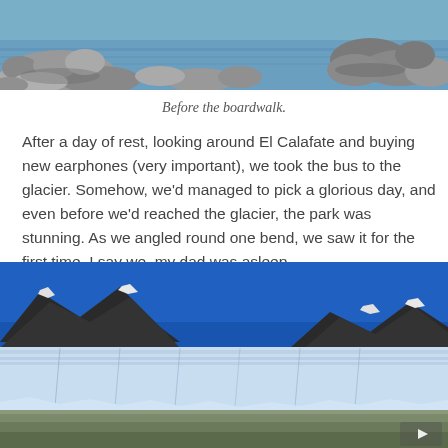[Figure (photo): Rocky shoreline with stones and blue water, partial top crop]
Before the boardwalk.
After a day of rest, looking around El Calafate and buying new earphones (very important), we took the bus to the glacier. Somehow, we’d managed to pick a glorious day, and even before we’d reached the glacier, the park was stunning. As we angled round one bend, we saw it for the first time. I say we, my dad was asleep.
[Figure (photo): Wide panoramic view of Perito Moreno glacier with bright blue sky, mountains, and glacier ice wall in foreground]